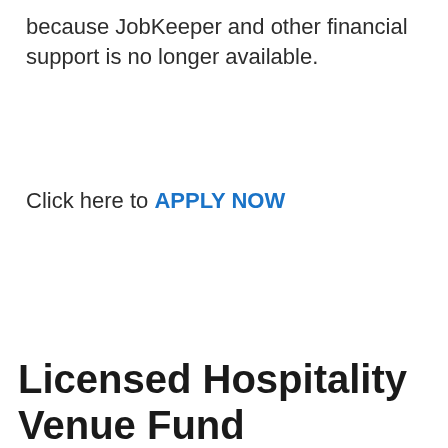because JobKeeper and other financial support is no longer available.
Click here to APPLY NOW
Licensed Hospitality Venue Fund